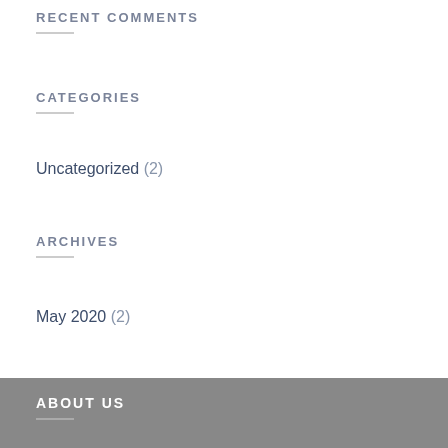RECENT COMMENTS
CATEGORIES
Uncategorized (2)
ARCHIVES
May 2020 (2)
ABOUT US